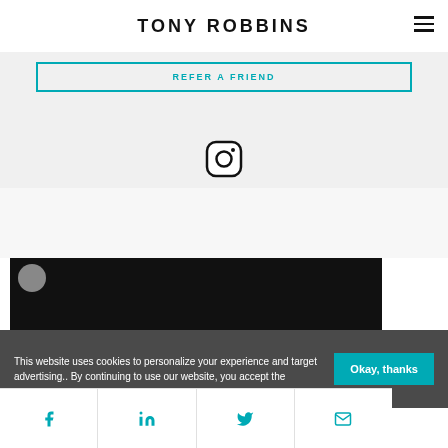TONY ROBBINS
REFER A FRIEND
[Figure (logo): Instagram icon - rounded square with circle and dot]
[Figure (photo): Video thumbnail with dark background and circular avatar]
This website uses cookies to personalize your experience and target advertising.. By continuing to use our website, you accept the
Okay, thanks
[Figure (infographic): Social share bar with Facebook, LinkedIn, Twitter, and Email icons in teal]